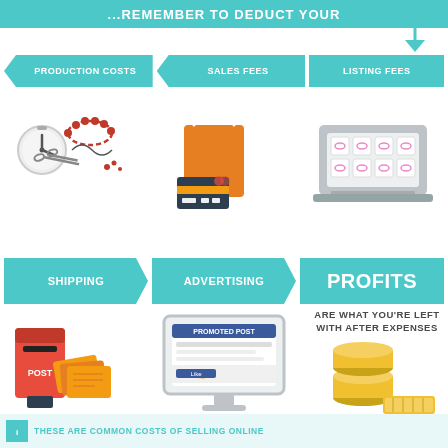...REMEMBER TO DEDUCT YOUR
[Figure (infographic): Infographic showing costs to deduct when selling online: Production Costs, Sales Fees, Listing Fees (top row with left-pointing arrows and icons), Shipping, Advertising, Profits (bottom row with right-pointing arrows and icons). Footer note: These are common costs of selling online.]
THESE ARE COMMON COSTS OF SELLING ONLINE